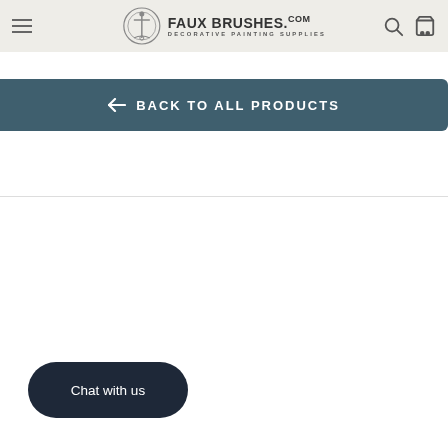FAUX BRUSHES.COM DECORATIVE PAINTING SUPPLIES
← BACK TO ALL PRODUCTS
Chat with us